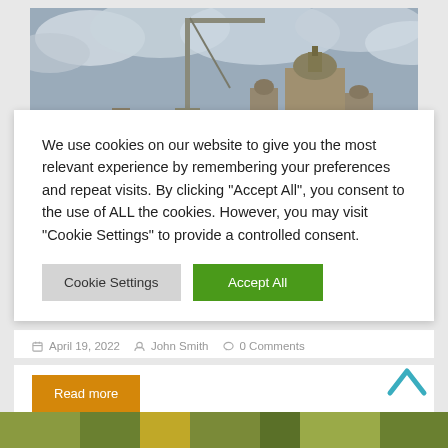[Figure (photo): Partial view of urban skyline with a construction crane and a historic domed/tower building against a cloudy grey sky.]
We use cookies on our website to give you the most relevant experience by remembering your preferences and repeat visits. By clicking "Accept All", you consent to the use of ALL the cookies. However, you may visit "Cookie Settings" to provide a controlled consent.
Cookie Settings   Accept All
April 19, 2022   John Smith   0 Comments
Read more
[Figure (photo): Partial bottom strip of an outdoor/nature photograph, partially cut off.]